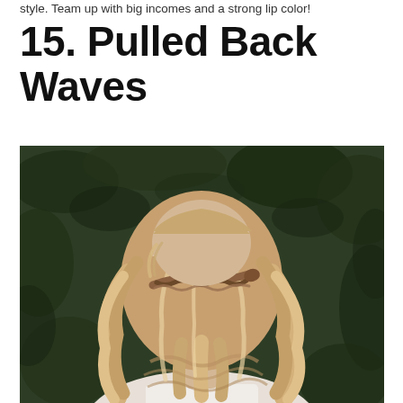style. Team up with big incomes and a strong lip color!
15. Pulled Back Waves
[Figure (photo): Back view of a woman with long wavy blonde hair styled with a pulled-back twisted/braided section at the crown, set against a dark green leafy background. Watermark reads @kristin_ess]